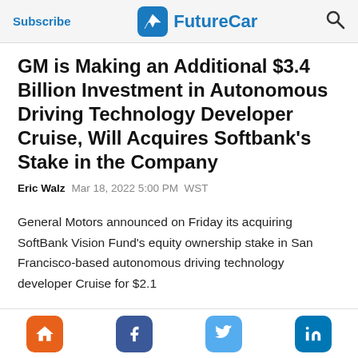Subscribe | FutureCar
GM is Making an Additional $3.4 Billion Investment in Autonomous Driving Technology Developer Cruise, Will Acquires Softbank's Stake in the Company
Eric Walz   Mar 18, 2022 5:00 PM  WST
General Motors announced on Friday its acquiring SoftBank Vision Fund's equity ownership stake in San Francisco-based autonomous driving technology developer Cruise for $2.1…